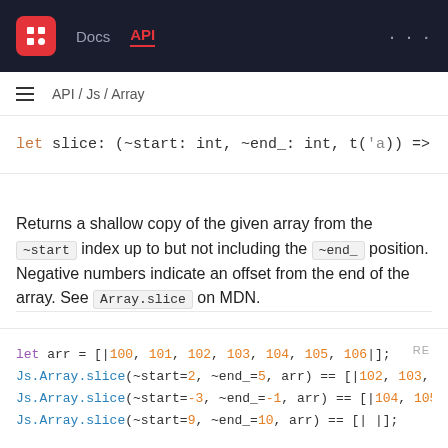Docs  API  ...
API / Js / Array
Returns a shallow copy of the given array from the ~start index up to but not including the ~end_ position. Negative numbers indicate an offset from the end of the array. See Array.slice on MDN.
let arr = [|100, 101, 102, 103, 104, 105, 106|];
Js.Array.slice(~start=2, ~end_=5, arr) == [|102, 103,
Js.Array.slice(~start=-3, ~end_=-1, arr) == [|104, 105
Js.Array.slice(~start=9, ~end_=10, arr) == [| |];